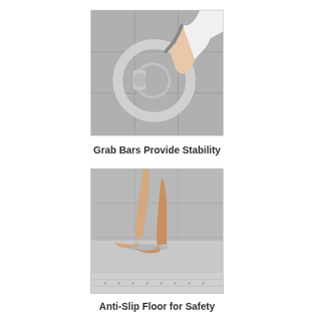[Figure (photo): Close-up photo of a person's hand gripping a chrome/brushed nickel grab bar mounted on a tiled wall, with a shower fixture visible nearby.]
Grab Bars Provide Stability
[Figure (photo): Photo of a person's bare legs and feet stepping on an anti-slip floor surface in what appears to be a shower or wet area, with a textured floor strip below.]
Anti-Slip Floor for Safety